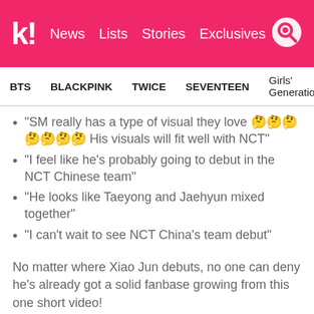k! News Lists Stories Exclusives
BTS  BLACKPINK  TWICE  SEVENTEEN  Girls' Generation
“SM really has a type of visual they love 🤔🤔🤔🤔🤔🤔🤔 His visuals will fit well with NCT”
“I feel like he’s probably going to debut in the NCT Chinese team”
“He looks like Taeyong and Jaehyun mixed together”
“I can’t wait to see NCT China’s team debut”
No matter where Xiao Jun debuts, no one can deny he’s already got a solid fanbase growing from this one short video!